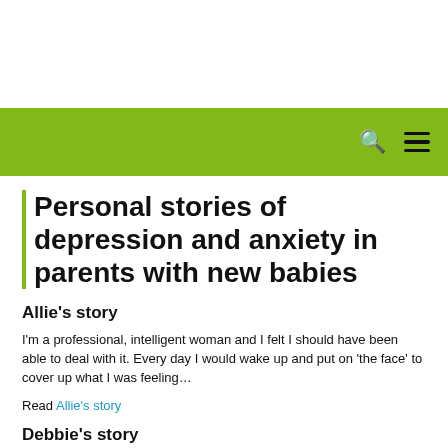[Figure (screenshot): White top area of webpage]
[Figure (screenshot): Green navigation bar with search and menu icons on the right]
Personal stories of depression and anxiety in parents with new babies
Allie's story
I'm a professional, intelligent woman and I felt I should have been able to deal with it. Every day I would wake up and put on 'the face' to cover up what I was feeling…
Read Allie's story
Debbie's story